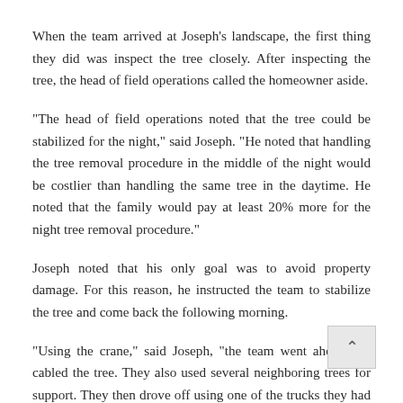When the team arrived at Joseph's landscape, the first thing they did was inspect the tree closely. After inspecting the tree, the head of field operations called the homeowner aside.
“The head of field operations noted that the tree could be stabilized for the night,” said Joseph. “He noted that handling the tree removal procedure in the middle of the night would be costlier than handling the same tree in the daytime. He noted that the family would pay at least 20% more for the night tree removal procedure.”
Joseph noted that his only goal was to avoid property damage. For this reason, he instructed the team to stabilize the tree and come back the following morning.
“Using the crane,” said Joseph, “the team went ahead and cabled the tree. They also used several neighboring trees for support. They then drove off using one of the trucks they had come with. The entire cabling process took less than 30 minutes. It was an amazing sight to see the team working so well.”